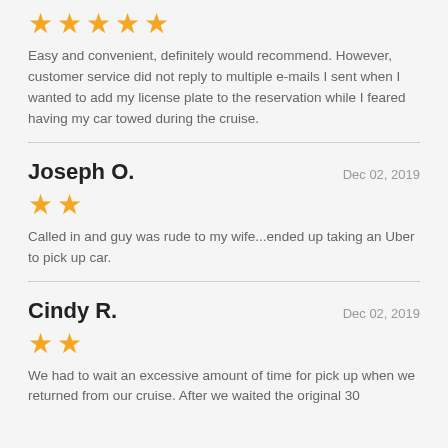[Figure (other): 5 gold stars rating]
Easy and convenient, definitely would recommend. However, customer service did not reply to multiple e-mails I sent when I wanted to add my license plate to the reservation while I feared having my car towed during the cruise.
Joseph O.
Dec 02, 2019
[Figure (other): 2 gold stars rating]
Called in and guy was rude to my wife...ended up taking an Uber to pick up car.
Cindy R.
Dec 02, 2019
[Figure (other): 2 gold stars rating]
We had to wait an excessive amount of time for pick up when we returned from our cruise. After we waited the original 30